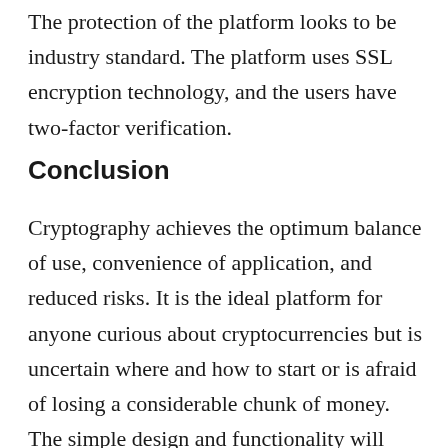The protection of the platform looks to be industry standard. The platform uses SSL encryption technology, and the users have two-factor verification.
Conclusion
Cryptography achieves the optimum balance of use, convenience of application, and reduced risks. It is the ideal platform for anyone curious about cryptocurrencies but is uncertain where and how to start or is afraid of losing a considerable chunk of money. The simple design and functionality will surely help in this quest. Cryptology is most likely the best cryptocurrencies trading platform for novices.